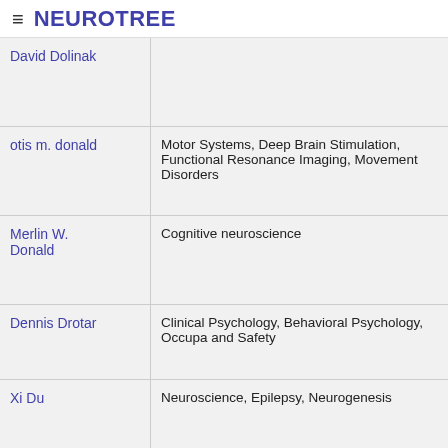≡ NEUROTREE
| Name | Research Areas |
| --- | --- |
| David Dolinak |  |
| otis m. donald | Motor Systems, Deep Brain Stimulation, Functional Resonance Imaging, Movement Disorders |
| Merlin W. Donald | Cognitive neuroscience |
| Dennis Drotar | Clinical Psychology, Behavioral Psychology, Occupa and Safety |
| Xi Du | Neuroscience, Epilepsy, Neurogenesis |
| Dominique Durand | Neural Engineering |